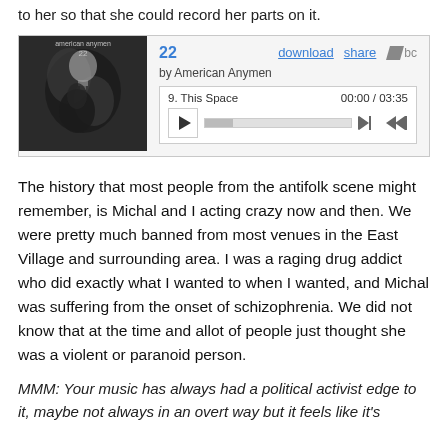to her so that she could record her parts on it.
[Figure (screenshot): Bandcamp music player widget showing album '22' by American Anymen, track 9 'This Space', 00:00 / 03:35]
The history that most people from the antifolk scene might remember, is Michal and I acting crazy now and then.  We were pretty much banned from most venues in the East Village and surrounding area.  I was a raging drug addict who did exactly what I wanted to when I wanted, and Michal was suffering from the onset of schizophrenia.  We did not know that at the time and allot of people just thought she was a violent or paranoid person.
MMM: Your music has always had a political activist edge to it, maybe not always in an overt way but it feels like it's